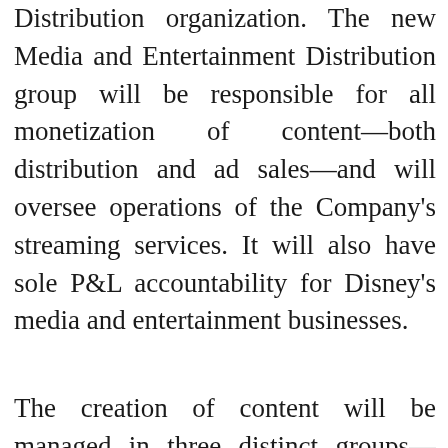Distribution organization. The new Media and Entertainment Distribution group will be responsible for all monetization of content—both distribution and ad sales—and will oversee operations of the Company's streaming services. It will also have sole P&L accountability for Disney's media and entertainment businesses.
The creation of content will be managed in three distinct groups—Studios, General Entertainment, and Sports—headed by current leaders Alan F. Horn and Alan Bergman, Peter Rice, and James Pitaro. The Media and Entertainment Distribution group will be